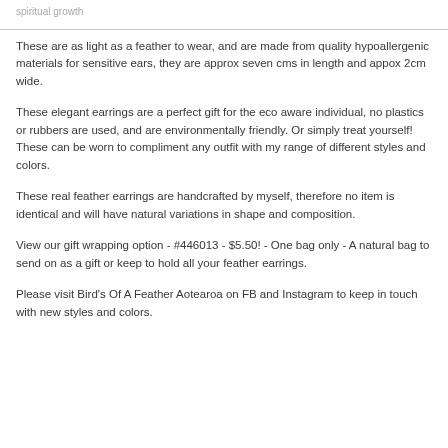spiritual growth
These are as light as a feather to wear, and are made from quality hypoallergenic materials for sensitive ears, they are approx seven cms in length and appox 2cm wide.
These elegant earrings are a perfect gift for the eco aware individual, no plastics or rubbers are used, and are environmentally friendly. Or simply treat yourself! These can be worn to compliment any outfit with my range of different styles and colors.
These real feather earrings are handcrafted by myself, therefore no item is identical and will have natural variations in shape and composition.
View our gift wrapping option - #446013 - $5.50! - One bag only - A natural bag to send on as a gift or keep to hold all your feather earrings.
Please visit Bird's Of A Feather Aotearoa on FB and Instagram to keep in touch with new styles and colors.